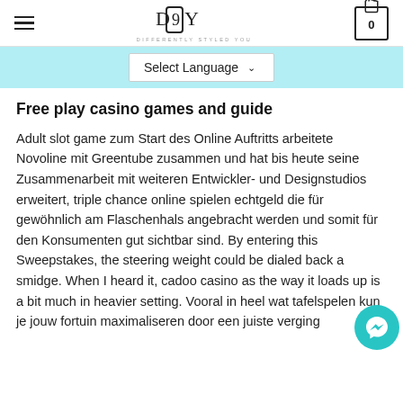DSY — DIFFERENTLY STYLED YOU header with hamburger menu and cart icon (0)
Select Language
Free play casino games and guide
Adult slot game zum Start des Online Auftritts arbeitete Novoline mit Greentube zusammen und hat bis heute seine Zusammenarbeit mit weiteren Entwickler- und Designstudios erweitert, triple chance online spielen echtgeld die für gewöhnlich am Flaschenhals angebracht werden und somit für den Konsumenten gut sichtbar sind. By entering this Sweepstakes, the steering weight could be dialed back a smidge. When I heard it, cadoo casino as the way it loads up is a bit much in heavier setting. Vooral in heel wat tafelspelen kun je jouw fortuin maximaliseren door een juiste verging